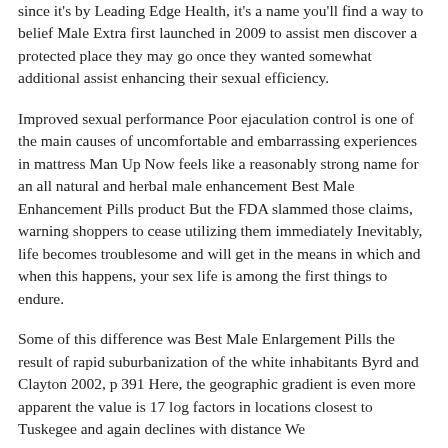since it's by Leading Edge Health, it's a name you'll find a way to belief Male Extra first launched in 2009 to assist men discover a protected place they may go once they wanted somewhat additional assist enhancing their sexual efficiency.
Improved sexual performance Poor ejaculation control is one of the main causes of uncomfortable and embarrassing experiences in mattress Man Up Now feels like a reasonably strong name for an all natural and herbal male enhancement Best Male Enhancement Pills product But the FDA slammed those claims, warning shoppers to cease utilizing them immediately Inevitably, life becomes troublesome and will get in the means in which and when this happens, your sex life is among the first things to endure.
Some of this difference was Best Male Enlargement Pills the result of rapid suburbanization of the white inhabitants Byrd and Clayton 2002, p 391 Here, the geographic gradient is even more apparent the value is 17 log factors in locations closest to Tuskegee and again declines with distance We